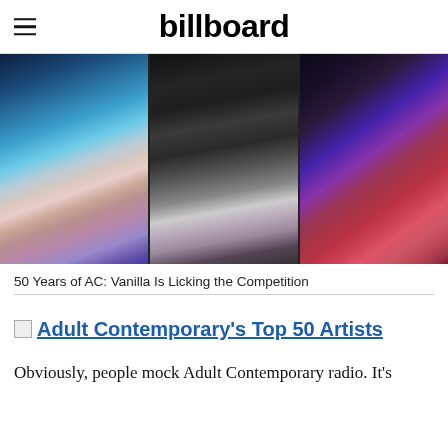billboard
[Figure (photo): Three-panel hero image showing performers: left panel shows a performer in colorful costume, middle panel shows a performer in striped outfit with microphone, right panel shows a woman in red lace dress.]
50 Years of AC: Vanilla Is Licking the Competition
Adult Contemporary's Top 50 Artists
Obviously, people mock Adult Contemporary radio. It's